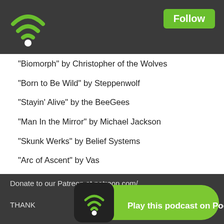[Figure (logo): Podbean WiFi/podcast icon in top-left of dark header bar]
Follow
(partially visible line at top)
"Biomorph" by Christopher of the Wolves
"Born to Be Wild" by Steppenwolf
"Stayin' Alive" by the BeeGees
"Man In the Mirror" by Michael Jackson
"Skunk Werks" by Belief Systems
"Arc of Ascent" by Vas
"Theme from Charmed" by Knightsbridge
"Devil Went Down to Georgia" by The Charlie Daniels Band
+ + +
Email us at eatmypaganass@gmail.com.
Friend us on Facebook at http://www.facebook.com/EatMyPaganAssPodcast
Follow us on Twitter: http://www.twitter.com/EatMyPaganAss
Donate (partially visible)
THANK (partially visible)
Play this podcast on Podbean App